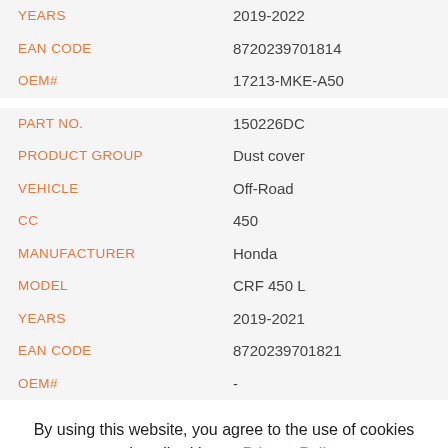| Field | Value |
| --- | --- |
| YEARS | 2019-2022 |
| EAN CODE | 8720239701814 |
| OEM# | 17213-MKE-A50 |
| Field | Value |
| --- | --- |
| PART NO. | 150226DC |
| PRODUCT GROUP | Dust cover |
| VEHICLE | Off-Road |
| CC | 450 |
| MANUFACTURER | Honda |
| MODEL | CRF 450 L |
| YEARS | 2019-2021 |
| EAN CODE | 8720239701821 |
| OEM# | - |
By using this website, you agree to the use of cookies as described in our Privacy Policy.